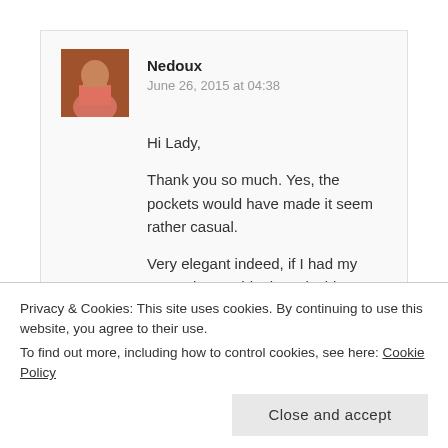Nedoux
June 26, 2015 at 04:38
Hi Lady,

Thank you so much. Yes, the pockets would have made it seem rather casual.

Very elegant indeed, if I had my way, I'd wear this dress inside out, just to show off the lace 😀

Lol, I know what you mean, the hem tape charmed me with her beauty and I forgot how boring hand
Privacy & Cookies: This site uses cookies. By continuing to use this website, you agree to their use.
To find out more, including how to control cookies, see here: Cookie Policy
Close and accept